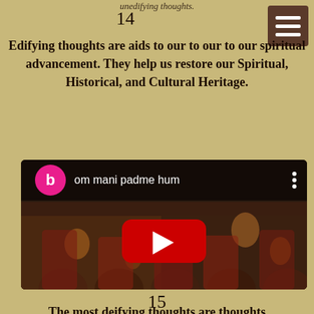unedifying thoughts.
14
Edifying thoughts are aids to our to our to our spiritual advancement. They help us restore our Spiritual, Historical, and Cultural Heritage.
[Figure (screenshot): YouTube video embed showing Buddhist monks holding candles, titled 'om mani padme hum' with a YouTube play button overlay and a blogger avatar icon.]
15
The most deifying thoughts are thoughts